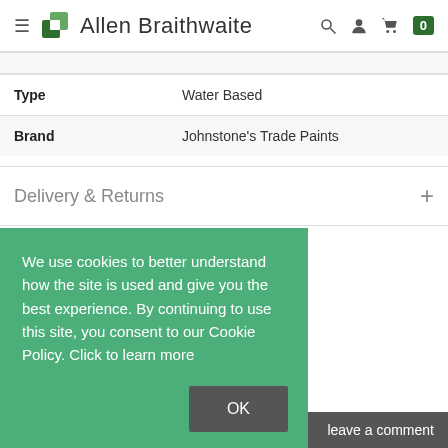Allen Braithwaite
| Type | Water Based |
| Brand | Johnstone's Trade Paints |
Delivery & Returns
We use cookies to better understand how the site is used and give you the best experience. By continuing to use this site, you consent to our Cookie Policy. Click to learn more
OK
leave a comment